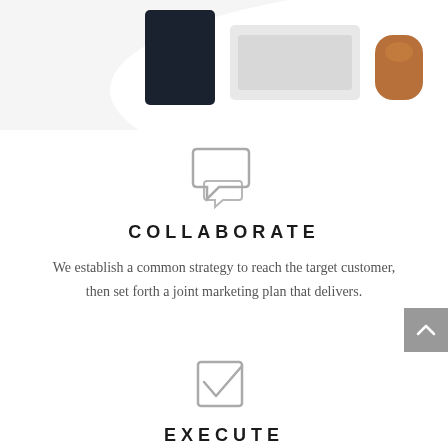[Figure (photo): Top partial photo of a desk workspace with laptop, keyboard, and mouse on a white rounded surface]
[Figure (illustration): Chat/speech bubble icon in gray]
COLLABORATE
We establish a common strategy to reach the target customer, then set forth a joint marketing plan that delivers.
[Figure (illustration): Checkbox with checkmark icon in gray]
EXECUTE